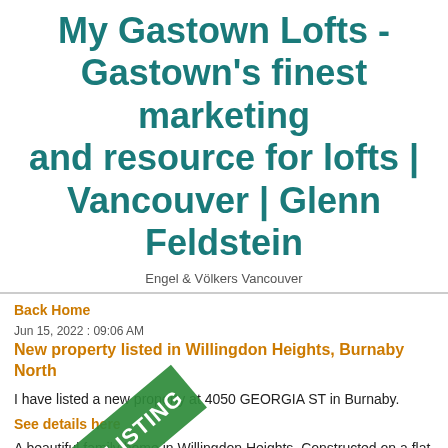My Gastown Lofts - Gastown's finest marketing and resource for lofts | Vancouver | Glenn Feldstein
Engel & Völkers Vancouver
Back Home
Jun 15, 2022 : 09:06 AM
New property listed in Willingdon Heights, Burnaby North
I have listed a new property at 4050 GEORGIA ST in Burnaby.
See details here
A beautiful family home in Willingdon Heights. Constructed on a flat 50' x 124', this residence has a bright open layout with a large family room for all to gather, an eat-in kitchen with a stainless steel appliance package, a formal living & dining room ideal for hosting. The backyard